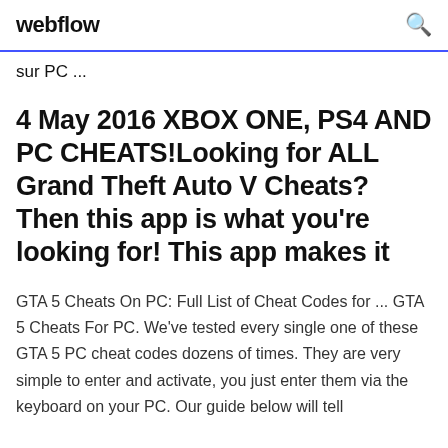webflow
sur PC ...
4 May 2016 XBOX ONE, PS4 AND PC CHEATS!Looking for ALL Grand Theft Auto V Cheats? Then this app is what you're looking for! This app makes it
GTA 5 Cheats On PC: Full List of Cheat Codes for ... GTA 5 Cheats For PC. We've tested every single one of these GTA 5 PC cheat codes dozens of times. They are very simple to enter and activate, you just enter them via the keyboard on your PC. Our guide below will tell